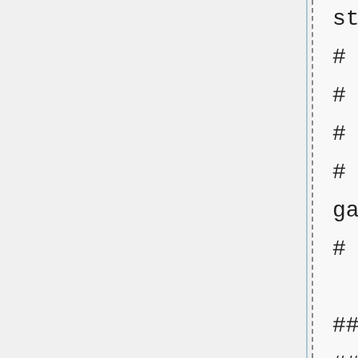# students to
# differentiate a trigonome
# WeBWorK problem written by
# <glarose(at)umich(dot)edu
# and modified by Mike Gage
gage(at)math(dot)rochester(
# ENDDESCRIPTION

## DBsubject('WeBWorK')
## DBchapter('Demos')
## DBsection('Problem')
## KEYWORDS('')
## TitleText1('')
## EditionText1('')
## AuthorText1('')
## Section1('')
## Problem1('')
## Author('Gavin LaRose')
## Institution('UMich')